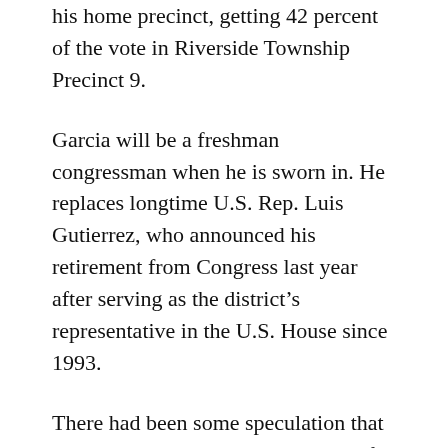his home precinct, getting 42 percent of the vote in Riverside Township Precinct 9.
Garcia will be a freshman congressman when he is sworn in. He replaces longtime U.S. Rep. Luis Gutierrez, who announced his retirement from Congress last year after serving as the district’s representative in the U.S. House since 1993.
There had been some speculation that Gutierrez had his sights on running for mayor of Chicago, but he stated publicly in September that he would not throw his hat in the ring.
Gutierrez at that time suggested Garcia might run for mayor, but Garcia has since ruled out such a run.